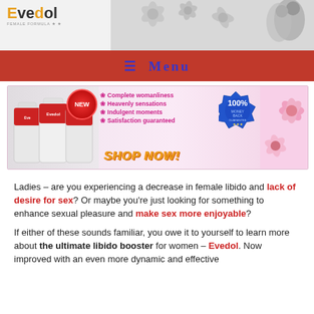[Figure (logo): Evedol logo with tagline FEMALE FORMULA]
[Figure (illustration): Decorative header banner with flowers and couple silhouette in grayscale]
≡ Menu
[Figure (infographic): Evedol product banner showing supplement bottles, NEW badge, bullet points: Complete womanliness, Heavenly sensations, Indulgent moments, Satisfaction guaranteed, 100% Money Back Guarantee badge, SHOP NOW text, pink flowers]
Ladies – are you experiencing a decrease in female libido and lack of desire for sex? Or maybe you're just looking for something to enhance sexual pleasure and make sex more enjoyable?
If either of these sounds familiar, you owe it to yourself to learn more about the ultimate libido booster for women – Evedol. Now improved with an even more dynamic and effective